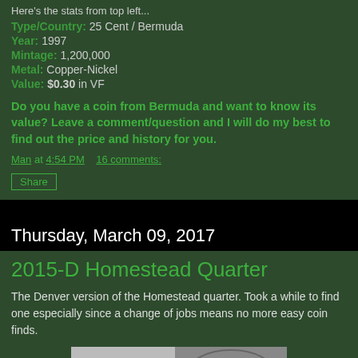Here's the stats from top left...
Type/Country: 25 Cent / Bermuda
Year: 1997
Mintage: 1,200,000
Metal: Copper-Nickel
Value: $0.30 in VF
Do you have a coin from Bermuda and want to know its value? Leave a comment/question and I will do my best to find out the price and history for you.
Man at 4:54 PM   16 comments:
Share
Thursday, March 09, 2017
2015-D Homestead Quarter
The Denver version of the Homestead quarter. Took a while to find one especially since a change of jobs means no more easy coin finds.
[Figure (photo): Close-up photo of the 2015-D Homestead Quarter coin showing partial text and coin design]